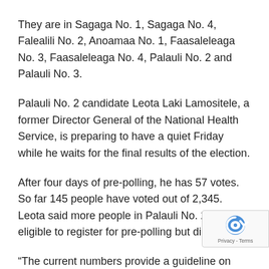They are in Sagaga No. 1, Sagaga No. 4, Falealili No. 2, Anoamaa No. 1, Faasaleleaga No. 3, Faasaleleaga No. 4, Palauli No. 2 and Palauli No. 3.
Palauli No. 2 candidate Leota Laki Lamositele, a former Director General of the National Health Service, is preparing to have a quiet Friday while he waits for the final results of the election.
After four days of pre-polling, he has 57 votes. So far 145 people have voted out of 2,345. Leota said more people in Palauli No. 2 were eligible to register for pre-polling but did not.
“The current numbers provide a guideline on how things go, but it doesn’t reflect how the final will go. The majority of senior citizens were not able to register [for pre-polling]